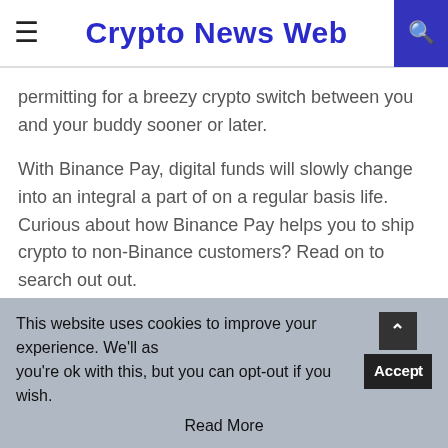Crypto News Web
permitting for a breezy crypto switch between you and your buddy sooner or later.
With Binance Pay, digital funds will slowly change into an integral a part of on a regular basis life. Curious about how Binance Pay helps you to ship crypto to non-Binance customers? Read on to search out out.
How to Send Crypto to Non-Binance Users
Binance Pay means that you can ship crypto from the
This website uses cookies to improve your experience. We'll as you're ok with this, but you can opt-out if you wish. Read More